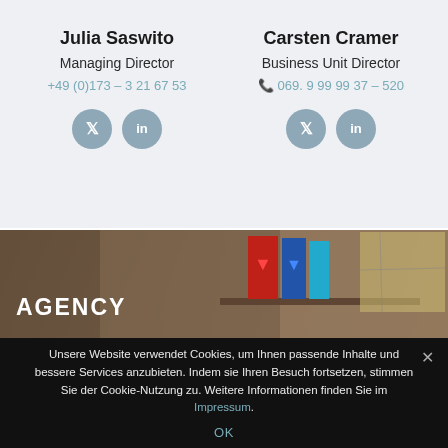Julia Saswito
Managing Director
+49 (0)173 – 3 21 67 53
Carsten Cramer
Business Unit Director
069. 9 99 99 37 – 520
[Figure (photo): Office interior with shelves, books/prints in red, blue, cyan, and maps on the wall. Text overlay: AGENCY]
Unsere Website verwendet Cookies, um Ihnen passende Inhalte und bessere Services anzubieten. Indem sie Ihren Besuch fortsetzen, stimmen Sie der Cookie-Nutzung zu. Weitere Informationen finden Sie im Impressum.
OK